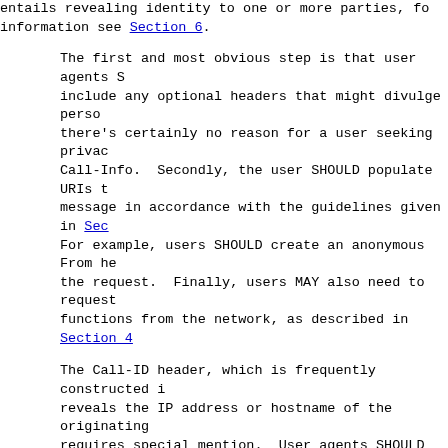entails revealing identity to one or more parties, for information see Section 6.
The first and most obvious step is that user agents SH include any optional headers that might divulge perso there's certainly no reason for a user seeking privacy Call-Info.  Secondly, the user SHOULD populate URIs t message in accordance with the guidelines given in Sec For example, users SHOULD create an anonymous From hea the request.  Finally, users MAY also need to request functions from the network, as described in Section 4
The Call-ID header, which is frequently constructed i reveals the IP address or hostname of the originating requires special mention.  User agents SHOULD substitu address or hostname that is frequently appended to the a suitably long random value (the value used as the 'l From header of the request might even be reused).
Note that if the user wants to conceal any of the abo intermediaries alone, without withholding them from th destination of the message, users MAY also place legit for these headers in encapsulated 'message/sip' S/MIME described in Section 23 of [1].
4.1.1 URIs, Display-Names and Privacy
A certain amount of privacy can be afforded by choosin SIP headers with URIs and display-names that do not re identity information.  In some of the header fields (t Reply-To and From headers), URIs are not used in furth